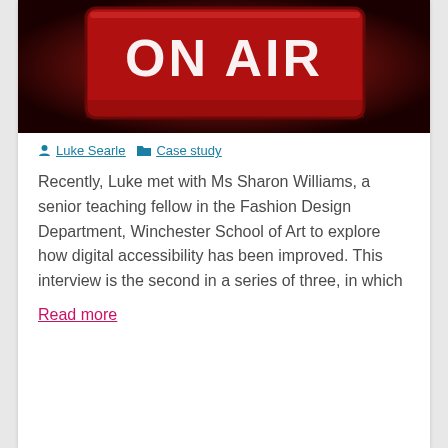[Figure (photo): Red ON AIR sign glowing against a dark red/black background]
Luke Searle   Case study
Recently, Luke met with Ms Sharon Williams, a senior teaching fellow in the Fashion Design Department, Winchester School of Art to explore how digital accessibility has been improved. This interview is the second in a series of three, in which
Read more